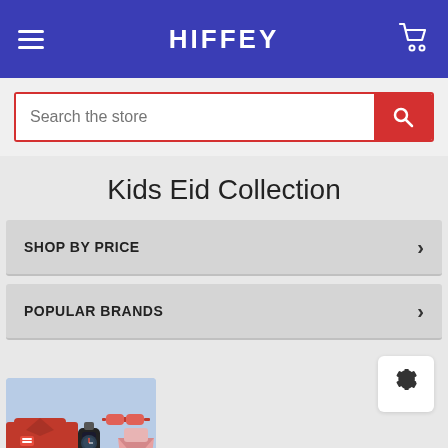HIFFEY
Search the store
Kids Eid Collection
SHOP BY PRICE
POPULAR BRANDS
[Figure (photo): Kids clothing product image showing a shirt, watch, sunglasses and a dress in red/pink tones on a light blue background]